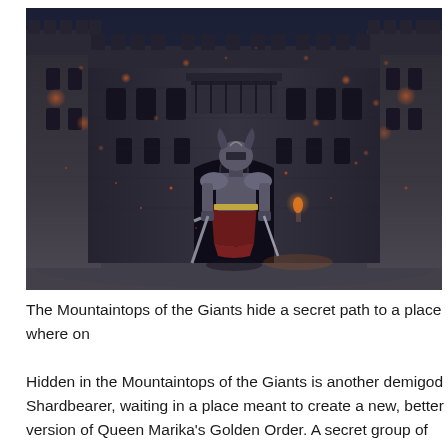[Figure (photo): A fantasy video game screenshot showing an armored warrior character standing in front of a massive dark stone castle at night, with glowing red embers or particles in the air. The castle has gothic architecture with towers and battlements. The scene has a dark, atmospheric blue-grey tone.]
The Mountaintops of the Giants hide a secret path to a place where on Hidden in the Mountaintops of the Giants is another demigod Shardbearer, waiting in a place meant to create a new, better version of Queen Marika's Golden Order. A secret group of guardians work to hide this secret place, a safe haven for the downtrodden of the Lands Between. To find your way there, you'll have to face a castle filled with ghosts and befriend one of the